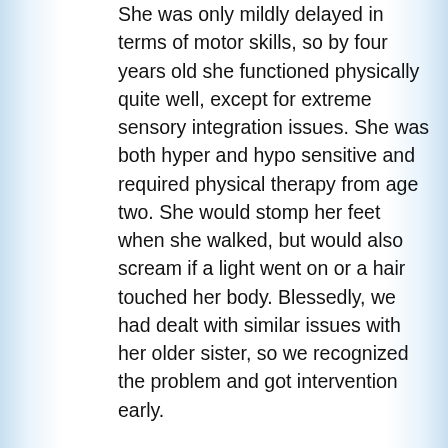She was only mildly delayed in terms of motor skills, so by four years old she functioned physically quite well, except for extreme sensory integration issues. She was both hyper and hypo sensitive and required physical therapy from age two. She would stomp her feet when she walked, but would also scream if a light went on or a hair touched her body. Blessedly, we had dealt with similar issues with her older sister, so we recognized the problem and got intervention early.
By the time she was four, we were told that she had a low IQ and was moderately developmentally delayed. By age eight a diagnosis of Asperger's (a mild form of autism) had been added to the list. As is typically with that combination of issues, the world was a